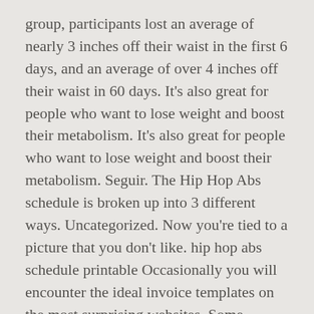group, participants lost an average of nearly 3 inches off their waist in the first 6 days, and an average of over 4 inches off their waist in 60 days. It's also great for people who want to lose weight and boost their metabolism. It's also great for people who want to lose weight and boost their metabolism. Seguir. The Hip Hop Abs schedule is broken up into 3 different ways. Uncategorized. Now you're tied to a picture that you don't like. hip hop abs schedule printable Occasionally you will encounter the ideal invoice templates on the most surprising websites. Some calendars are wholly editable. When choosing a printable calendar, think about how you will utilize it. Workout